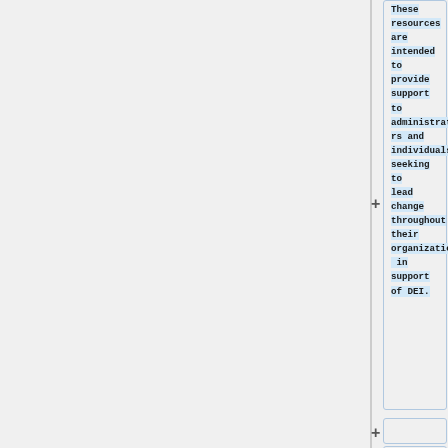These resources are intended to provide support to administrators and individuals seeking to lead change throughout their organization in support of DEI.
*Examples of More Inclusive and